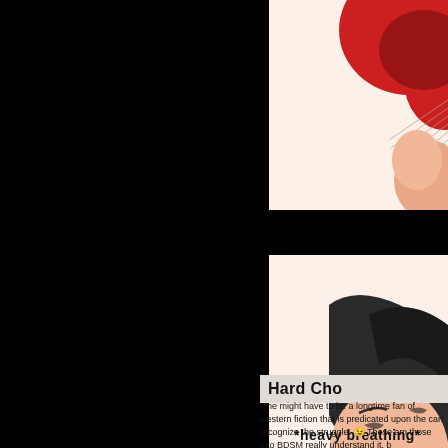[Figure (illustration): Manga/comic style illustration showing a character with a red hat/hair from above, cropped panel (top panel)]
[Figure (illustration): Manga/comic style illustration showing a character with dark hair breathing heavily, with text '*heavy breathing*' overlaid on panel]
Hard Cho
One might have to be a longtime fan of western fiction that is predicated upon the can recognize the struggle. 😉 Those am those into BDSM really understand it, b